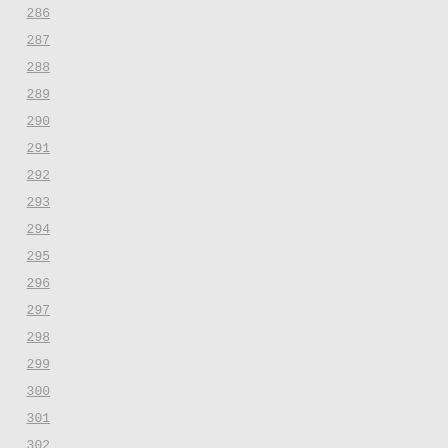[Figure (screenshot): Source code editor showing line numbers 286-313 with code content visible on the right side. Lines 304 shows closing brace in olive/yellow color, line 306-307 show red comment markers starting with /*, line 308 shows 'stat' keyword in dark blue, line 309 shows opening brace in blue.]